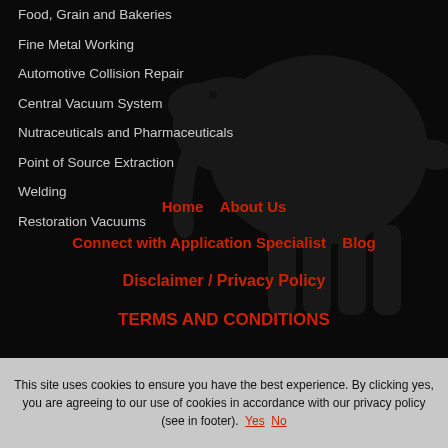Food, Grain and Bakeries
Fine Metal Working
Automotive Collision Repair
Central Vacuum System
Nutraceuticals and Pharmaceuticals
Point of Source Extraction
Welding
Restoration Vacuums
Home  About Us  Connect with Application Specialist  Blog  Disclaimer / Privacy Policy  TERMS AND CONDITIONS
This site uses cookies to ensure you have the best experience. By clicking yes, you are agreeing to our use of cookies in accordance with our privacy policy (see in footer).  Yes  No